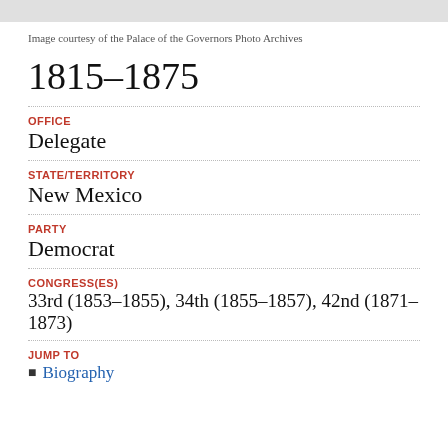[Figure (other): Gray decorative top bar / photo placeholder]
Image courtesy of the Palace of the Governors Photo Archives
1815–1875
OFFICE
Delegate
STATE/TERRITORY
New Mexico
PARTY
Democrat
CONGRESS(ES)
33rd (1853–1855), 34th (1855–1857), 42nd (1871–1873)
JUMP TO
Biography